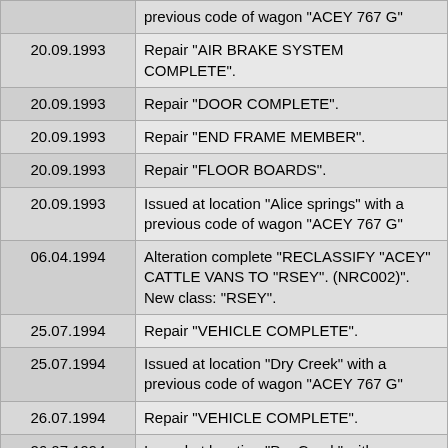| Date | Description |
| --- | --- |
|  | previous code of wagon "ACEY 767 G" |
| 20.09.1993 | Repair "AIR BRAKE SYSTEM COMPLETE". |
| 20.09.1993 | Repair "DOOR COMPLETE". |
| 20.09.1993 | Repair "END FRAME MEMBER". |
| 20.09.1993 | Repair "FLOOR BOARDS". |
| 20.09.1993 | Issued at location "Alice springs" with a previous code of wagon "ACEY 767 G" |
| 06.04.1994 | Alteration complete "RECLASSIFY "ACEY" CATTLE VANS TO "RSEY". (NRC002)". New class: "RSEY". |
| 25.07.1994 | Repair "VEHICLE COMPLETE". |
| 25.07.1994 | Issued at location "Dry Creek" with a previous code of wagon "ACEY 767 G" |
| 26.07.1994 | Repair "VEHICLE COMPLETE". |
| 26.07.1994 | Issued at location "Dry Creek" with a previous code of wagon "ACEY 767 G" |
| 27.07.1994 | Repair "VEHICLE COMPLETE". |
| 27.07.1994 | Issued at location "Alice springs" with a |